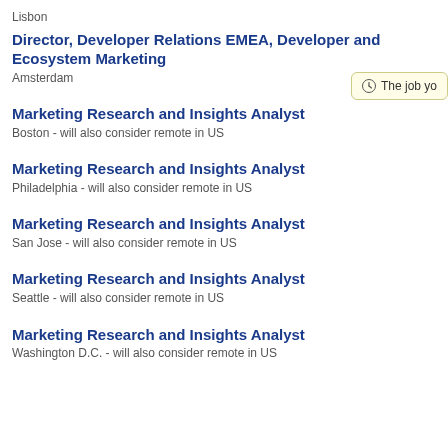Lisbon
Director, Developer Relations EMEA, Developer and Ecosystem Marketing
Amsterdam
Marketing Research and Insights Analyst
Boston - will also consider remote in US
Marketing Research and Insights Analyst
Philadelphia - will also consider remote in US
Marketing Research and Insights Analyst
San Jose - will also consider remote in US
Marketing Research and Insights Analyst
Seattle - will also consider remote in US
Marketing Research and Insights Analyst
Washington D.C. - will also consider remote in US